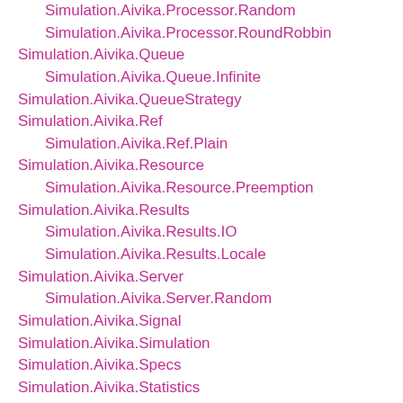Simulation.Aivika.Processor.Random
Simulation.Aivika.Processor.RoundRobbin
Simulation.Aivika.Queue
Simulation.Aivika.Queue.Infinite
Simulation.Aivika.QueueStrategy
Simulation.Aivika.Ref
Simulation.Aivika.Ref.Plain
Simulation.Aivika.Resource
Simulation.Aivika.Resource.Preemption
Simulation.Aivika.Results
Simulation.Aivika.Results.IO
Simulation.Aivika.Results.Locale
Simulation.Aivika.Server
Simulation.Aivika.Server.Random
Simulation.Aivika.Signal
Simulation.Aivika.Simulation
Simulation.Aivika.Specs
Simulation.Aivika.Statistics
Simulation.Aivika.Statistics.Accumulator
Simulation.Aivika.Stats